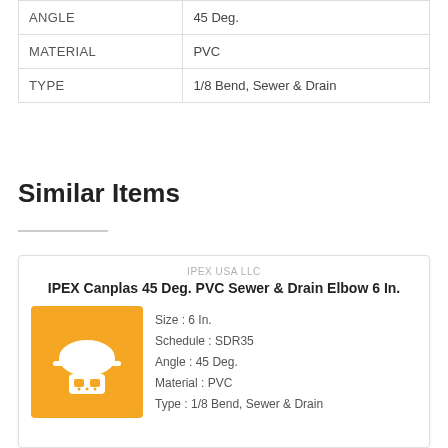| Property | Value |
| --- | --- |
| ANGLE | 45 Deg. |
| MATERIAL | PVC |
| TYPE | 1/8 Bend, Sewer & Drain |
Similar Items
| Brand | Title | Specs |
| --- | --- | --- |
| IPEX USA LLC | IPEX Canplas 45 Deg. PVC Sewer & Drain Elbow 6 In. | Size : 6 In. | Schedule : SDR35 | Angle : 45 Deg. | Material : PVC | Type : 1/8 Bend, Sewer & Drain |